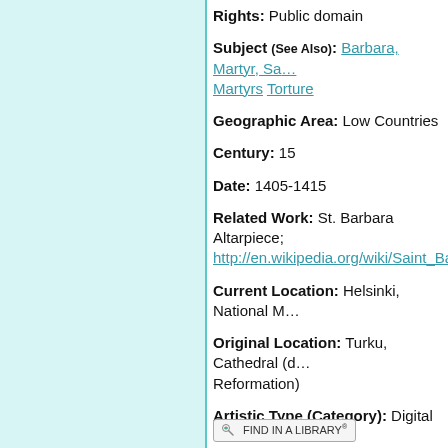Rights: Public domain
Subject (See Also): Barbara, Martyr, Sa... Martyrs Torture
Geographic Area: Low Countries
Century: 15
Date: 1405-1415
Related Work: St. Barbara Altarpiece; http://en.wikipedia.org/wiki/Saint_Barba...
Current Location: Helsinki, National M...
Original Location: Turku, Cathedral (d... Reformation)
Artistic Type (Category): Digital image...
Artistic Type (Material/Technique): W...
Donor: Male religious; Bishop of Turku...
Height/Width/Length(cm): 200 cm/26...
Inscription:
Related Resources:
[Figure (other): Find in a Library button with WorldCat logo]